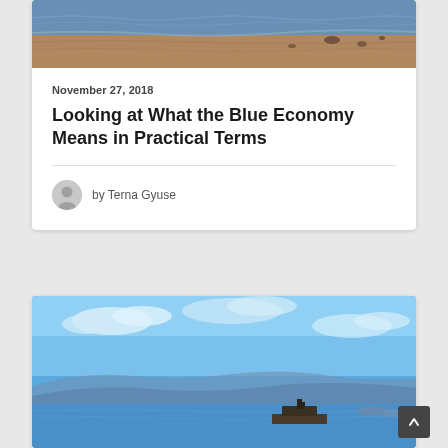[Figure (photo): Coastal shoreline with sand, rocks, and water visible from above]
November 27, 2018
Looking at What the Blue Economy Means in Practical Terms
by Terna Gyuse
[Figure (photo): Blue sky with clouds over water and mountains, cargo ship visible in the distance]